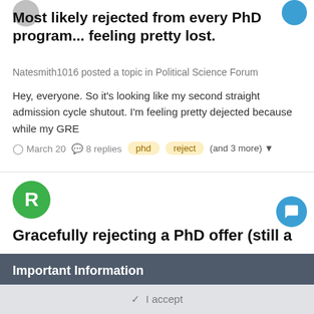Most likely rejected from every PhD program... feeling pretty lost.
Natesmith1016 posted a topic in Political Science Forum
Hey, everyone. So it's looking like my second straight admission cycle shutout. I'm feeling pretty dejected because while my GRE
March 20   8 replies   phd   reject   (and 3 more)
Gracefully rejecting a PhD offer (still a
Important Information
By using this site, you agree to our Terms of Use and Privacy Policy.
✓ I accept